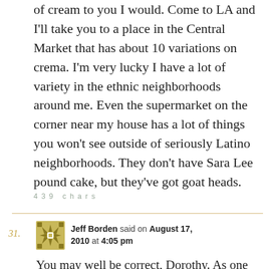of cream to you I would. Come to LA and I'll take you to a place in the Central Market that has about 10 variations on crema. I'm very lucky I have a lot of variety in the ethnic neighborhoods around me. Even the supermarket on the corner near my house has a lot of things you won't see outside of seriously Latino neighborhoods. They don't have Sara Lee pound cake, but they've got goat heads.
439 chars
31. Jeff Borden said on August 17, 2010 at 4:05 pm
You may well be correct, Dorothy. As one